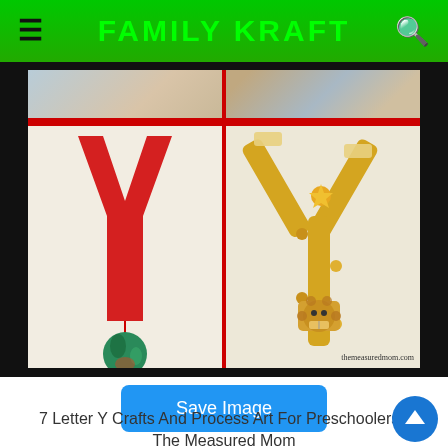FAMILY KRAFT
[Figure (photo): Two letter Y craft projects for preschoolers. Left: red paper letter Y with a hanging painted earth globe. Right: yellow popsicle stick letter Y decorated with buttons and a small lion/cat figure. Watermark: themeasuredmom.com]
Save Image
7 Letter Y Crafts And Process Art For Preschoolers - The Measured Mom